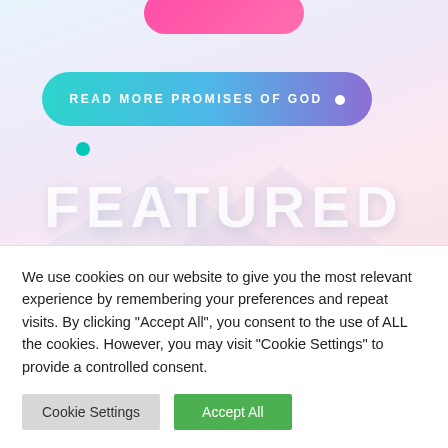[Figure (screenshot): Website screenshot showing a gradient background with a teal-to-purple pill-shaped button labeled 'READ MORE PROMISES OF GOD', a large semi-transparent 'FEATURED' text, and part of a book cover with script text 'Just in Case']
We use cookies on our website to give you the most relevant experience by remembering your preferences and repeat visits. By clicking "Accept All", you consent to the use of ALL the cookies. However, you may visit "Cookie Settings" to provide a controlled consent.
Cookie Settings
Accept All